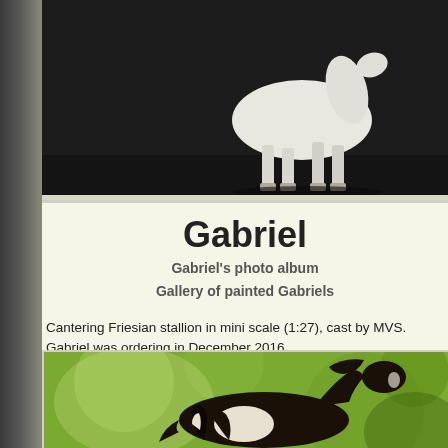[Figure (photo): White horse figurine (Friesian stallion) photographed against dark background, showing lower legs and hooves on dark surface]
Gabriel
Gabriel's photo album
Gallery of painted Gabriels
Cantering Friesian stallion in mini scale (1:27), cast by MVS. Gabriel was ordering in December 2016.
His original sales info can be found here.
[Figure (photo): Painted black and white pinto Friesian stallion figurine cantering, photographed against green bokeh background]